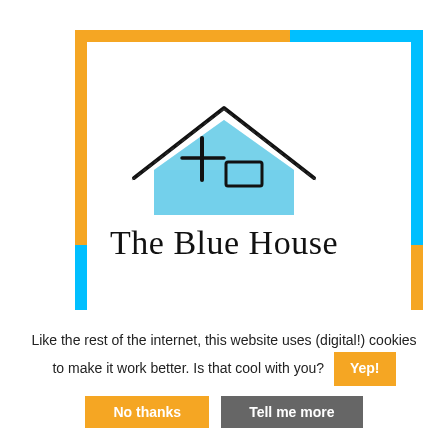[Figure (logo): The Blue House logo: a hand-drawn blue house illustration with a black roof outline and a small window, above the text 'The Blue House' in a serif handwritten style font. The logo is framed by an orange and cyan L-shaped border.]
Like the rest of the internet, this website uses (digital!) cookies to make it work better. Is that cool with you? Yep!
No thanks
Tell me more